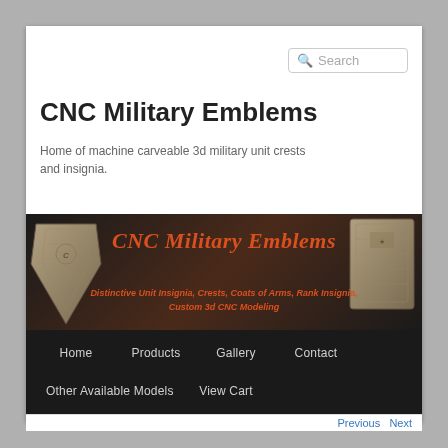Search
CNC Military Emblems
Home of machine carveable 3d military unit crests and insignia.
[Figure (illustration): CNC Military Emblems website banner with orange italic text 'CNC Military Emblems' and subtitle 'Distinctive Unit Insignia, Crests, Coats of Arms, Rank Insignia, Custom 3d CNC Modeling' on a dark gradient background with carved military emblem images on left and right sides.]
Home
Products
Gallery
Contact
Other Available Models
View Cart
Previous   Next